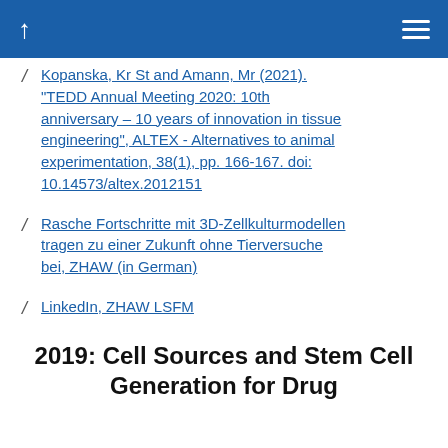↑ ≡
Kopanska, Kr St and Amann, Mr (2021). "TEDD Annual Meeting 2020: 10th anniversary – 10 years of innovation in tissue engineering", ALTEX - Alternatives to animal experimentation, 38(1), pp. 166-167. doi: 10.14573/altex.2012151
Rasche Fortschritte mit 3D-Zellkulturmodellen tragen zu einer Zukunft ohne Tierversuche bei, ZHAW (in German)
LinkedIn, ZHAW LSFM
2019: Cell Sources and Stem Cell Generation for Drug